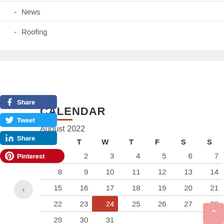- News
- Roofing
CALENDAR
August 2022
| M | T | W | T | F | S | S |
| --- | --- | --- | --- | --- | --- | --- |
| 1 | 2 | 3 | 4 | 5 | 6 | 7 |
| 8 | 9 | 10 | 11 | 12 | 13 | 14 |
| 15 | 16 | 17 | 18 | 19 | 20 | 21 |
| 22 | 23 | 24 | 25 | 26 | 27 | 28 |
| 29 | 30 | 31 |  |  |  |  |